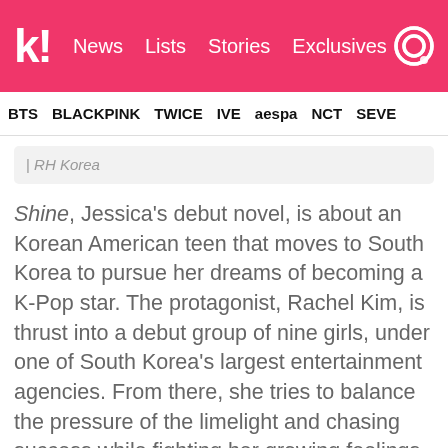k! News Lists Stories Exclusives
BTS BLACKPINK TWICE IVE aespa NCT SEVE
| RH Korea
Shine, Jessica's debut novel, is about an Korean American teen that moves to South Korea to pursue her dreams of becoming a K-Pop star. The protagonist, Rachel Kim, is thrust into a debut group of nine girls, under one of South Korea's largest entertainment agencies. From there, she tries to balance the pressure of the limelight and chasing success while fighting her growing feelings for K-Pop's golden boy, Jason Lee.